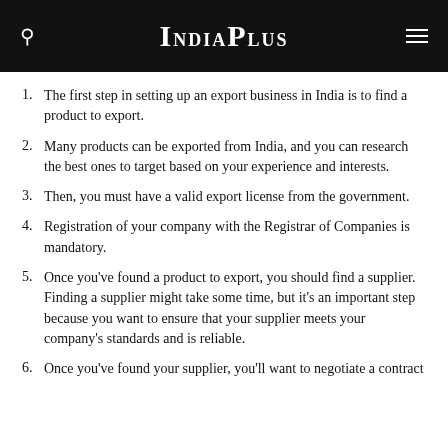IndiaPlus
The first step in setting up an export business in India is to find a product to export.
Many products can be exported from India, and you can research the best ones to target based on your experience and interests.
Then, you must have a valid export license from the government.
Registration of your company with the Registrar of Companies is mandatory.
Once you've found a product to export, you should find a supplier. Finding a supplier might take some time, but it's an important step because you want to ensure that your supplier meets your company's standards and is reliable.
Once you've found your supplier, you'll want to negotiate a contract